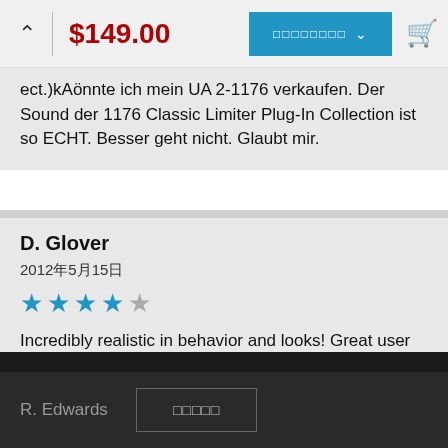$149.00
ect.)kA¶nnte ich mein UA 2-1176 verkaufen. Der Sound der 1176 Classic Limiter Plug-In Collection ist so ECHT. Besser geht nicht. Glaubt mir.
D. Glover
2012年5月15日
[Figure (other): 4 out of 5 stars rating in blue]
Incredibly realistic in behavior and looks! Great user interface, this is the real deal! Only give it a 4 because it is not sitting in my rack.
R. Edwards